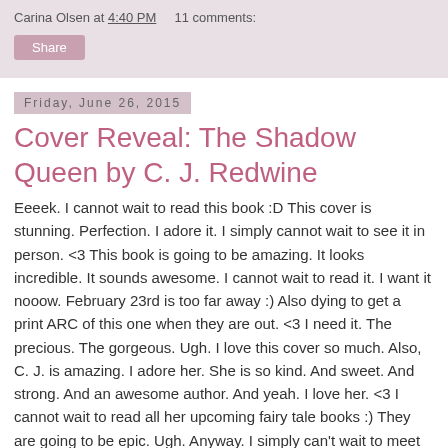Carina Olsen at 4:40 PM   11 comments:
Share
Friday, June 26, 2015
Cover Reveal: The Shadow Queen by C. J. Redwine
Eeeek. I cannot wait to read this book :D This cover is stunning. Perfection. I adore it. I simply cannot wait to see it in person. <3 This book is going to be amazing. It looks incredible. It sounds awesome. I cannot wait to read it. I want it nooow. February 23rd is too far away :) Also dying to get a print ARC of this one when they are out. <3 I need it. The precious. The gorgeous. Ugh. I love this cover so much. Also, C. J. is amazing. I adore her. She is so kind. And sweet. And strong. And an awesome author. And yeah. I love her. <3 I cannot wait to read all her upcoming fairy tale books :) They are going to be epic. Ugh. Anyway. I simply can't wait to meet Lorelai and Kol :D So excited. What do you think of the cover?